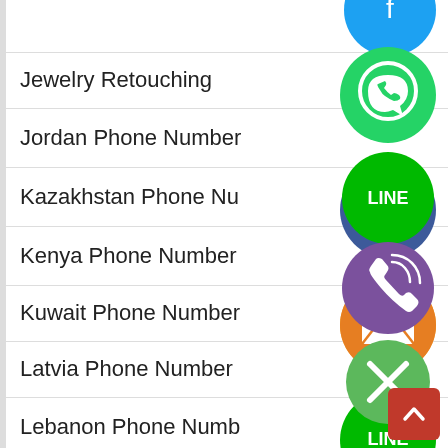Jewelry Retouching
Jordan Phone Number
Kazakhstan Phone Nu…
Kenya Phone Number
Kuwait Phone Number
Latvia Phone Number
Lebanon Phone Numb…
List Building for MLM
[Figure (screenshot): A vertical column of social/messaging app icons (WhatsApp green, phone blue, email orange, LINE green, Viber purple, close green) overlaid on the right side of a list of items. A red back-to-top button is in the bottom right.]